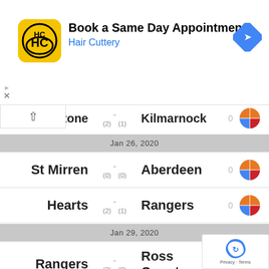[Figure (screenshot): Hair Cuttery advertisement banner: Book a Same Day Appointment]
Johnstone - Kilmarnock (2) (1) 0
Jan 26, 2020
St Mirren - Aberdeen (0) (0) 0
Hearts - Rangers (2) (1) 0
Jan 29, 2020
Rangers - Ross County (2) (0) 0
St Johnstone - Celtic (0) (3) 0